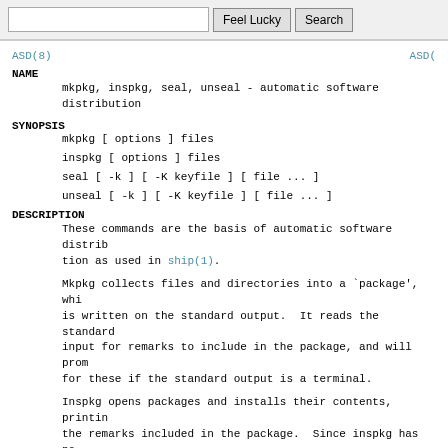ASD(8)                                                    ASD(
NAME
mkpkg, inspkg, seal, unseal - automatic software distribution
SYNOPSIS
mkpkg [ options ] files
inspkg [ options ] files
seal [ -k ] [ -K keyfile ] [ file ... ]
unseal [ -k ] [ -K keyfile ] [ file ... ]
DESCRIPTION
These commands are the basis of automatic software distribution as used in ship(1).
Mkpkg collects files and directories into a `package', which is written on the standard output.  It reads the standard input for remarks to include in the package, and will prompt for these if the standard output is a terminal.
Inspkg opens packages and installs their contents, printing the remarks included in the package.  Since inspkg has no special privileges, installation should be done by the owner of the files being installed or by the super-user.
The information contained in a package includes the full path names of the files being installed...